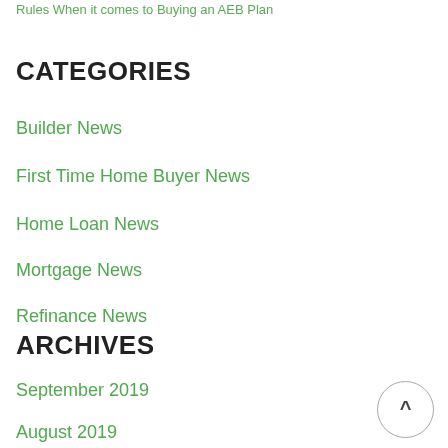Rules When it comes to Buying an AEB Plan
CATEGORIES
Builder News
First Time Home Buyer News
Home Loan News
Mortgage News
Refinance News
ARCHIVES
September 2019
August 2019